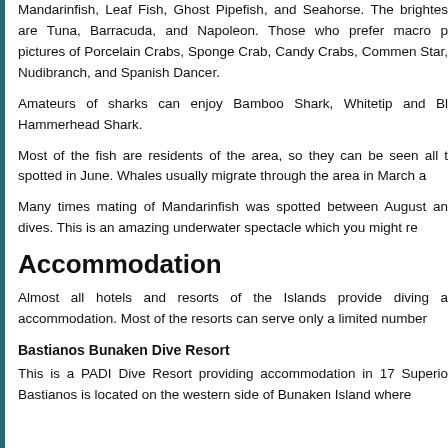Mandarinfish, Leaf Fish, Ghost Pipefish, and Seahorse. The brightest are Tuna, Barracuda, and Napoleon. Those who prefer macro pictures of Porcelain Crabs, Sponge Crab, Candy Crabs, Commen Star, Nudibranch, and Spanish Dancer.
Amateurs of sharks can enjoy Bamboo Shark, Whitetip and Bl Hammerhead Shark.
Most of the fish are residents of the area, so they can be seen all t spotted in June. Whales usually migrate through the area in March a
Many times mating of Mandarinfish was spotted between August an dives. This is an amazing underwater spectacle which you might re
Accommodation
Almost all hotels and resorts of the Islands provide diving a accommodation. Most of the resorts can serve only a limited number
Bastianos Bunaken Dive Resort
This is a PADI Dive Resort providing accommodation in 17 Superio Bastianos is located on the western side of Bunaken Island where